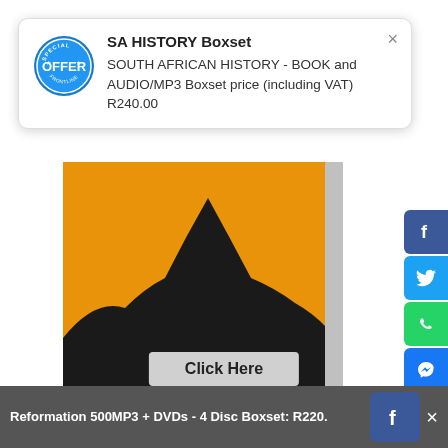[Figure (infographic): Tooltip popup with 'OFFER' badge, title 'SA HISTORY Boxset', description about SOUTH AFRICAN HISTORY BOOK and AUDIO/MP3 Boxset price R240.00, with close X button]
SA HISTORY Boxset
SOUTH AFRICAN HISTORY - BOOK and AUDIO/MP3 Boxset price (including VAT) R240.00
[Figure (photo): Book cover with orange and black design showing silhouette of a dome/mosque, author name Peter Hammond at bottom]
More Articles
All
AN OVERVIEW OF SUDAN IN
Reformation 500MP3 + DVDs - 4 Disc Boxset: R220.  Click Here